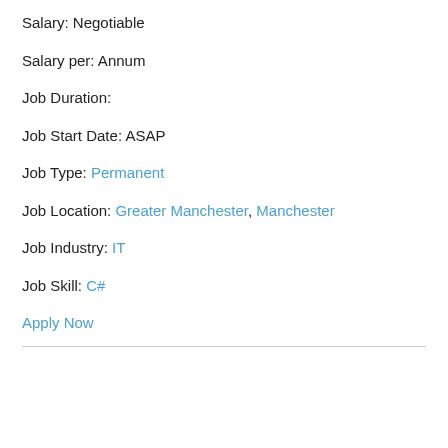Salary: Negotiable
Salary per: Annum
Job Duration:
Job Start Date: ASAP
Job Type: Permanent
Job Location: Greater Manchester, Manchester
Job Industry: IT
Job Skill: C#
Apply Now